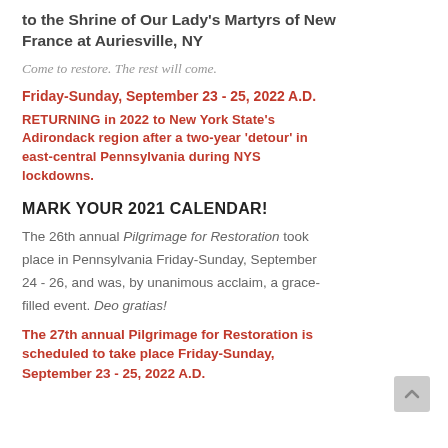to the Shrine of Our Lady's Martyrs of New France at Auriesville, NY
Come to restore. The rest will come.
Friday-Sunday, September 23 - 25, 2022 A.D.
RETURNING in 2022 to New York State's Adirondack region after a two-year 'detour' in east-central Pennsylvania during NYS lockdowns.
MARK YOUR 2021 CALENDAR!
The 26th annual Pilgrimage for Restoration took place in Pennsylvania Friday-Sunday, September 24 - 26, and was, by unanimous acclaim, a grace-filled event. Deo gratias!
The 27th annual Pilgrimage for Restoration is scheduled to take place Friday-Sunday, September 23 - 25, 2022 A.D.